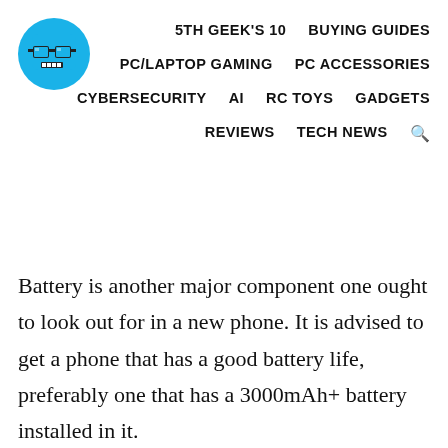[Figure (logo): Blue circle logo with pixel-art glasses icon (5th Geek brand logo)]
5TH GEEK'S 10   BUYING GUIDES
PC/LAPTOP GAMING   PC ACCESSORIES
CYBERSECURITY   AI   RC TOYS   GADGETS
REVIEWS   TECH NEWS
Battery is another major component one ought to look out for in a new phone. It is advised to get a phone that has a good battery life, preferably one that has a 3000mAh+ battery installed in it.